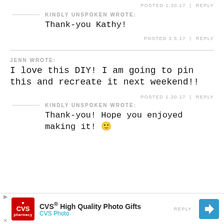POSTED 1.30.17 | REPLY
KINDLY UNSPOKEN WROTE:
Thank-you Kathy!
POSTED 2.5.17 | REPLY
JENN WROTE:
I love this DIY! I am going to pin this and recreate it next weekend!!
POSTED 1.30.17 | REPLY
KINDLY UNSPOKEN WROTE:
Thank-you! Hope you enjoyed making it! 🙂
[Figure (other): CVS advertisement banner: CVS High Quality Photo Gifts - CVS Photo, with CVS logo, play button, and direction arrow icon]